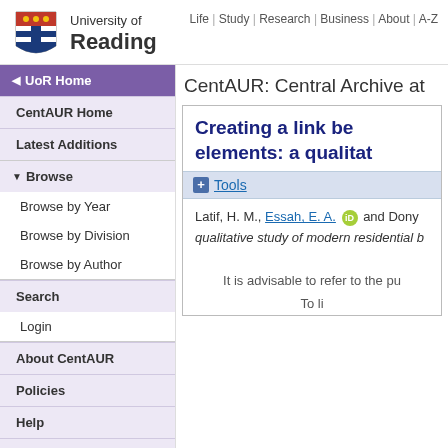[Figure (logo): University of Reading shield logo in red/gold/black]
University of Reading | Life | Study | Research | Business | About | A-Z
UoR Home
CentAUR Home
Latest Additions
Browse
Browse by Year
Browse by Division
Browse by Author
Search
Login
About CentAUR
Policies
Help
Contact Us
CentAUR: Central Archive at
Creating a link be... elements: a qualitat...
Tools
Latif, H. M., Essah, E. A. and Dony... qualitative study of modern residential b...
It is advisable to refer to the pu...
To li...